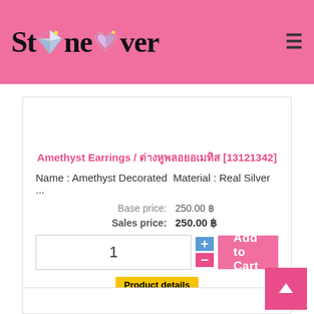StoneLover
Amethyst Earrings / ต่างหูพลอยอเมทิส [13121342]
Name : Amethyst Decorated Material : Real Silver ...
Base price: 250.00 ฿
Sales price: 250.00 ฿
1
Add to Cart
Product details